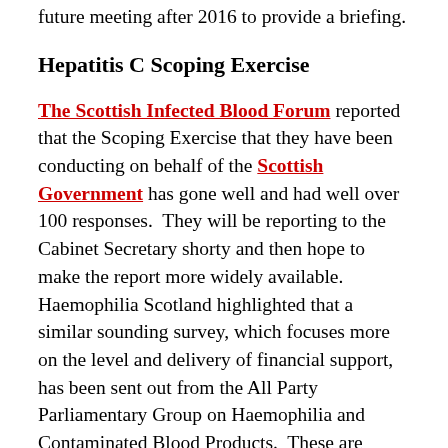future meeting after 2016 to provide a briefing.
Hepatitis C Scoping Exercise
The Scottish Infected Blood Forum reported that the Scoping Exercise that they have been conducting on behalf of the Scottish Government has gone well and had well over 100 responses.  They will be reporting to the Cabinet Secretary shorty and then hope to make the report more widely available.  Haemophilia Scotland highlighted that a similar sounding survey, which focuses more on the level and delivery of financial support, has been sent out from the All Party Parliamentary Group on Haemophilia and Contaminated Blood Products.  These are different